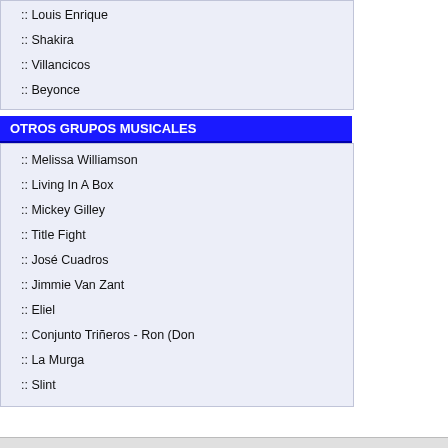:: Louis Enrique
:: Shakira
:: Villancicos
:: Beyonce
OTROS GRUPOS MUSICALES
:: Melissa Williamson
:: Living In A Box
:: Mickey Gilley
:: Title Fight
:: José Cuadros
:: Jimmie Van Zant
:: Eliel
:: Conjunto Triñeros - Ron (Don
:: La Murga
:: Slint